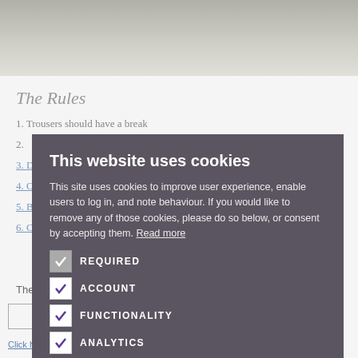[Figure (photo): Top portion of a photo showing tiled floor, partially visible]
The Rules
1. Trousers should have a break
3. Don't wear white after Labor Day
4. Only button the waist button
5. Big men shouldn't wear DBs
6. Cover the black-tie waist
The Permanent Style Newsletter...
CLICK HERE TO REGISTER
Click here to read our Privacy Policy
This website uses cookies
This site uses cookies to improve user experience, enable users to log in, and note behaviour. If you would like to remove any of those cookies, please do so below, or consent by accepting them. Read more
REQUIRED
ACCOUNT
FUNCTIONALITY
ANALYTICS
ACCEPT ALL
DECLINE ALL